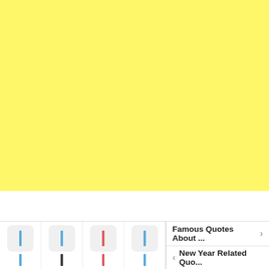[Figure (other): Large yellow/cream colored background area filling the top portion of the page]
[Figure (screenshot): Bottom UI bar with four icon columns (blue, blue, red, blue bar icons with rounded square buttons) and two navigation links: 'Famous Quotes About ...' with right arrow, and 'New Year Related Quo...' with left arrow]
Famous Quotes About ...
New Year Related Quo...